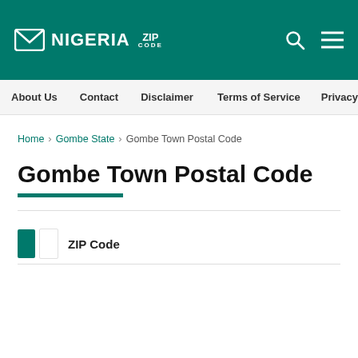NIGERIA ZIP CODE
About Us | Contact | Disclaimer | Terms of Service | Privacy P
Home > Gombe State > Gombe Town Postal Code
Gombe Town Postal Code
| [Nigeria Flag] ZIP Code |
| --- |